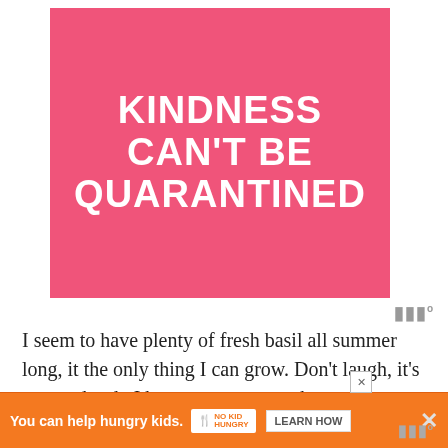[Figure (illustration): Pink square graphic with white hand-lettered text reading 'KINDNESS CAN'T BE QUARANTINED']
I seem to have plenty of fresh basil all summer long, it the only thing I can grow. Don't laugh, it's true and sad...I have grown some cherry tomatoes. I think I should make some mozzarella cheese... it's on my list of things to make and WOW that list is getting long. Do you have a si...
[Figure (infographic): Orange advertisement banner: 'You can help hungry kids.' with No Kid Hungry logo and 'LEARN HOW' button]